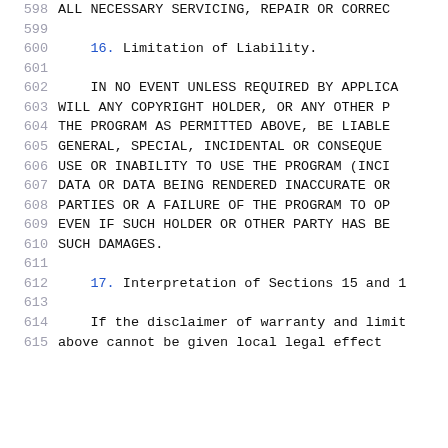598    ALL NECESSARY SERVICING, REPAIR OR CORREC
599
600    16. Limitation of Liability.
601
602    IN NO EVENT UNLESS REQUIRED BY APPLICA
603  WILL ANY COPYRIGHT HOLDER, OR ANY OTHER P
604  THE PROGRAM AS PERMITTED ABOVE, BE LIABLE
605  GENERAL, SPECIAL, INCIDENTAL OR CONSEQUE
606  USE OR INABILITY TO USE THE PROGRAM (INCI
607  DATA OR DATA BEING RENDERED INACCURATE OR
608  PARTIES OR A FAILURE OF THE PROGRAM TO OP
609  EVEN IF SUCH HOLDER OR OTHER PARTY HAS BE
610  SUCH DAMAGES.
611
612    17. Interpretation of Sections 15 and 1
613
614    If the disclaimer of warranty and limit
615  above cannot be given local legal effect